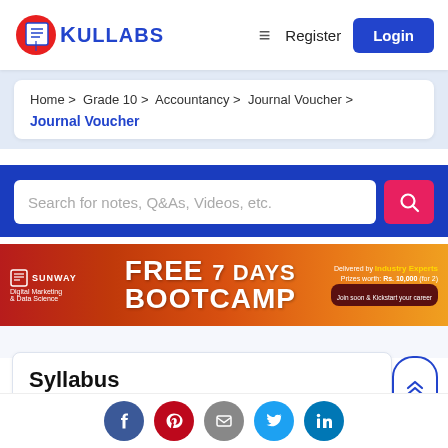[Figure (logo): KullAbs logo with red circle and open book icon, blue text KULLABS]
Register
Login
Home > Grade 10 > Accountancy > Journal Voucher > Journal Voucher
Search for notes, Q&As, Videos, etc.
[Figure (infographic): Sunway Digital Marketing & Data Science FREE 7 DAYS BOOTCAMP ad banner. Industry Experts. Prizes worth Rs. 10,000 (for 2). Join soon & Kickstart your career.]
Syllabus
Lessons
[Figure (other): Social media share icons: Facebook, Pinterest, Email, Twitter, LinkedIn]